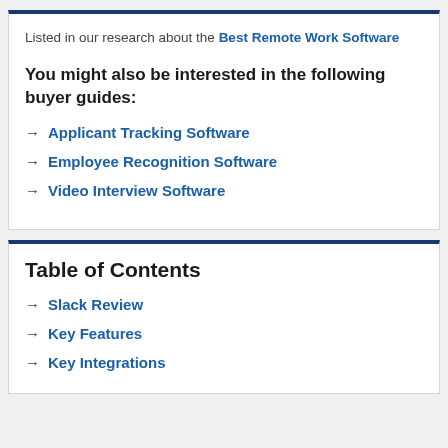Listed in our research about the Best Remote Work Software
You might also be interested in the following buyer guides:
→ Applicant Tracking Software
→ Employee Recognition Software
→ Video Interview Software
Table of Contents
→ Slack Review
→ Key Features
→ Key Integrations